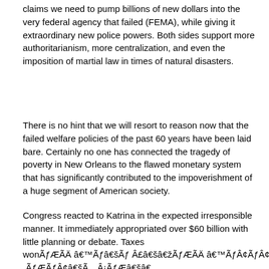claims we need to pump billions of new dollars into the very federal agency that failed (FEMA), while giving it extraordinary new police powers. Both sides support more authoritarianism, more centralization, and even the imposition of martial law in times of natural disasters.
There is no hint that we will resort to reason now that the failed welfare policies of the past 60 years have been laid bare. Certainly no one has connected the tragedy of poverty in New Orleans to the flawed monetary system that has significantly contributed to the impoverishment of a huge segment of American society.
Congress reacted to Katrina in the expected irresponsible manner. It immediately appropriated over $60 billion with little planning or debate. Taxes wonÃƒÆÃ†â€™Ãƒâ€ Ã¢â,¬â„¢ÃƒÆÃ¢â,¬ Ãƒ¢Ã¢â€š¬Ã¢â€žÃƒÆÃ†â€™ÃƒÃ¢Ã¢â€š¬Ã...¡ÃƒÆÃ¢â,¬Å¡ÃƒÃ¢â€šÃƒÆÃ†â€™Ãƒâ€ Ã¢â,¬â„¢ÃƒÆÃ¢â,¬Å¡ÃƒÃ¢â€šÃ